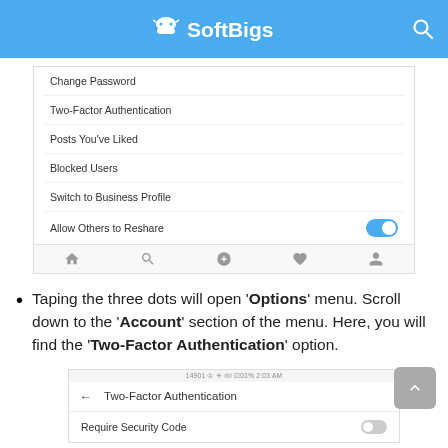SoftBigs
[Figure (screenshot): Mobile app settings menu showing Change Password, Two-Factor Authentication, Posts You've Liked, Blocked Users, Switch to Business Profile, Allow Others to Reshare (toggled on), and bottom navigation bar]
Taping the three dots will open 'Options' menu. Scroll down to the 'Account' section of the menu. Here, you will find the 'Two-Factor Authentication' option.
[Figure (screenshot): Mobile app Two-Factor Authentication settings screen showing a Require Security Code toggle]